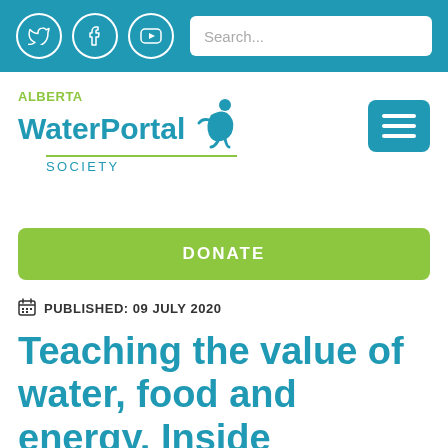Social icons (Twitter, Facebook, YouTube) and Search bar
[Figure (logo): Alberta WaterPortal Society logo with stylized figure and green/blue text, plus hamburger menu button]
DONATE
PUBLISHED: 09 JULY 2020
Teaching the value of water, food and energy, Inside